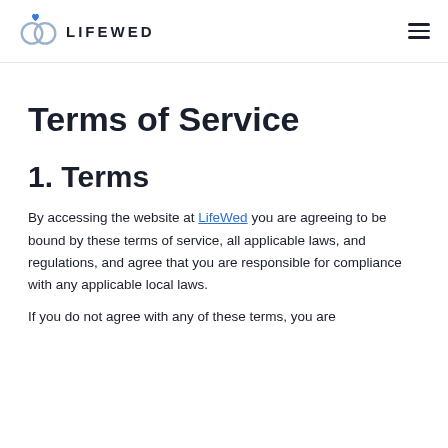LIFEWED
Terms of Service
1. Terms
By accessing the website at LifeWed you are agreeing to be bound by these terms of service, all applicable laws, and regulations, and agree that you are responsible for compliance with any applicable local laws.
If you do not agree with any of these terms, you are